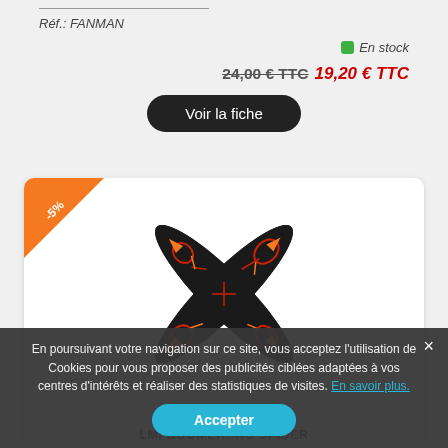Réf.: FANMAN
En stock
24,00 € TTC 19,20 € TTC
Voir la fiche
[Figure (photo): Black four-blade boomerang with orange and red tribal/arrow designs, shown against white background. Orange -5% discount badge in top-left corner.]
LMI BOOMERANG SPIDER
En poursuivant votre navigation sur ce site, vous acceptez l'utilisation de Cookies pour vous proposer des publicités ciblées adaptées à vos centres d'intérêts et réaliser des statistiques de visites. En savoir plus.
Accepter